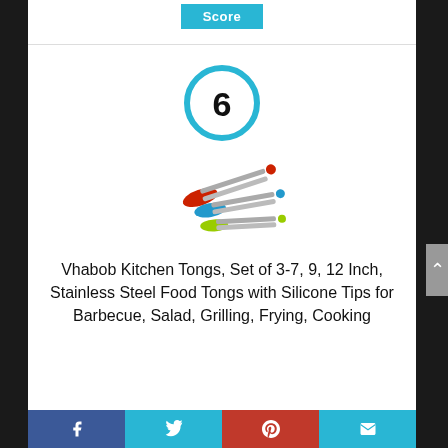Score
[Figure (infographic): A cyan/blue circle with the number 6 inside, acting as a score badge]
[Figure (photo): Three kitchen tongs in red, blue, and green/lime colors arranged diagonally]
Vhabob Kitchen Tongs, Set of 3-7, 9, 12 Inch, Stainless Steel Food Tongs with Silicone Tips for Barbecue, Salad, Grilling, Frying, Cooking
Facebook  Twitter  Pinterest  Email